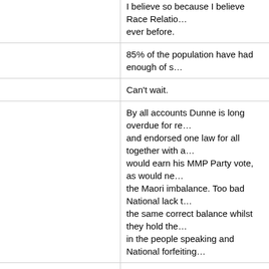I believe so because I believe Race Relations... ever before.
85% of the population have had enough of s...
Can't wait.
By all accounts Dunne is long overdue for re... and endorsed one law for all together with a... would earn his MMP Party vote, as would ne... the Maori imbalance. Too bad National lack t... the same correct balance whilst they hold the... in the people speaking and National forfeiting...
I am absolutely sick and tired IWI leaders su... and more ridiculous claims The quickest way... and the quickest way have turmoil in a coun... don't seem to pass their ill gotten gains to m... quickly as possible.
I will vote for the Party that ensures we will b...
There is an under belly of opinion that is not... premote equaklity for every body will i believe... if he has the guts. Just as Don Brash did.
I hope it does. It's time it came to ahead.